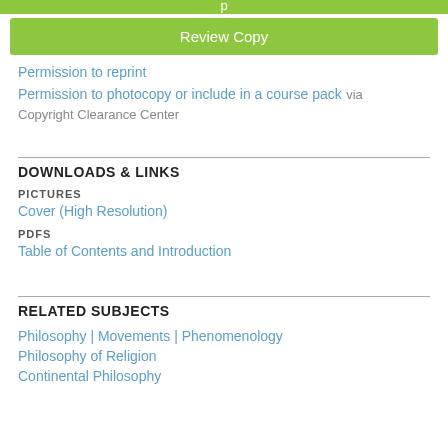[Figure (other): Partial green bar at top (cut off), showing 'Review Copy' button]
Permission to reprint
Permission to photocopy or include in a course pack via Copyright Clearance Center
DOWNLOADS & LINKS
PICTURES
Cover (High Resolution)
PDFS
Table of Contents and Introduction
RELATED SUBJECTS
Philosophy | Movements | Phenomenology
Philosophy of Religion
Continental Philosophy